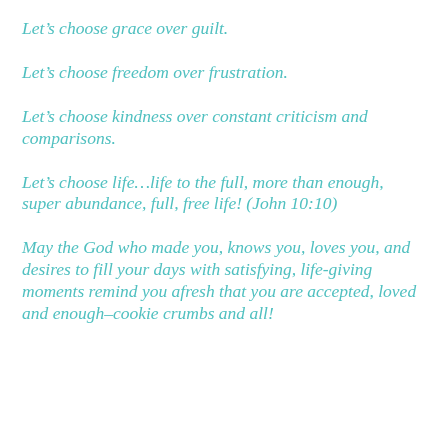Let’s choose grace over guilt.
Let’s choose freedom over frustration.
Let’s choose kindness over constant criticism and comparisons.
Let’s choose life…life to the full, more than enough, super abundance, full, free life! (John 10:10)
May the God who made you, knows you, loves you, and desires to fill your days with satisfying, life-giving moments remind you afresh that you are accepted, loved and enough–cookie crumbs and all!